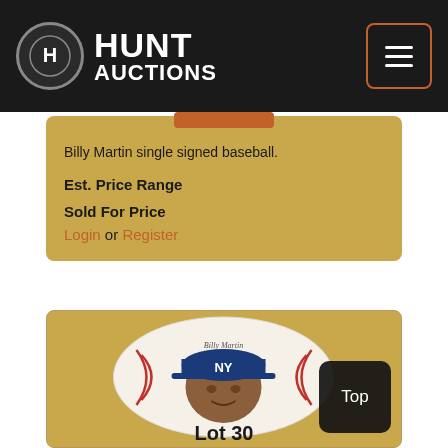Hunt Auctions
Billy Martin single signed baseball.
Est. Price Range
Sold For Price
Login or Register
[Figure (photo): A painted baseball featuring a portrait of a New York Yankees player wearing a blue NY cap, with red stitching. The ball appears to be signed.]
Lot 30